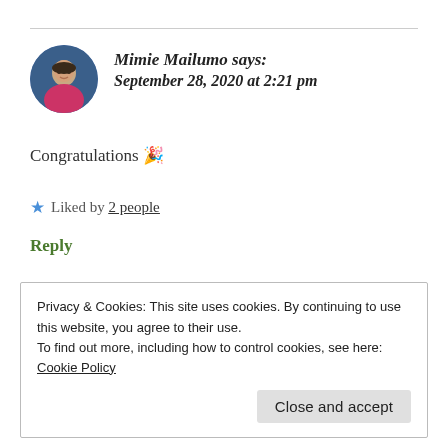Mimie Mailumo says:
September 28, 2020 at 2:21 pm
Congratulations 🎉
★ Liked by 2 people
Reply
Privacy & Cookies: This site uses cookies. By continuing to use this website, you agree to their use.
To find out more, including how to control cookies, see here: Cookie Policy
Close and accept